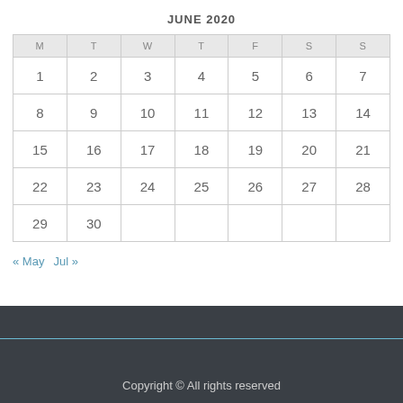JUNE 2020
| M | T | W | T | F | S | S |
| --- | --- | --- | --- | --- | --- | --- |
| 1 | 2 | 3 | 4 | 5 | 6 | 7 |
| 8 | 9 | 10 | 11 | 12 | 13 | 14 |
| 15 | 16 | 17 | 18 | 19 | 20 | 21 |
| 22 | 23 | 24 | 25 | 26 | 27 | 28 |
| 29 | 30 |  |  |  |  |  |
« May   Jul »
Copyright © All rights reserved